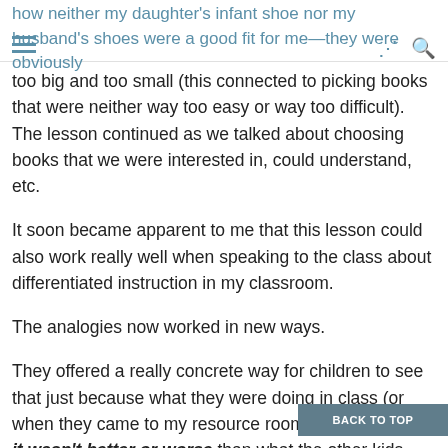how neither my daughter's infant shoe nor my husband's shoes were a good fit for me—they were obviously too big and too small (this connected to picking books that were neither way too easy or way too difficult). The lesson continued as we talked about choosing books that we were interested in, could understand, etc.
It soon became apparent to me that this lesson could also work really well when speaking to the class about differentiated instruction in my classroom.
The analogies now worked in new ways.
They offered a really concrete way for children to see that just because what they were doing in class (or when they came to my resource room) was different, it wasn't better or worse than what the other kids were doing, it was just different. It was what they needed, what they